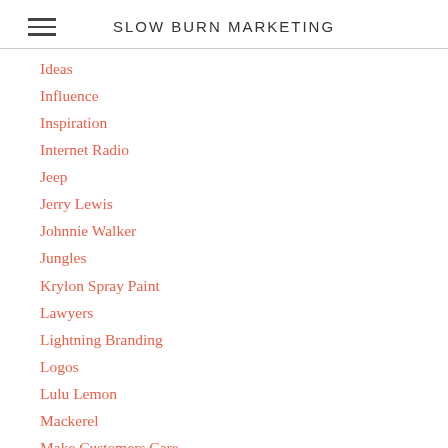SLOW BURN MARKETING
Ideas
Influence
Inspiration
Internet Radio
Jeep
Jerry Lewis
Johnnie Walker
Jungles
Krylon Spray Paint
Lawyers
Lightning Branding
Logos
Lulu Lemon
Mackerel
Make Customers Care
Marketing
Masks